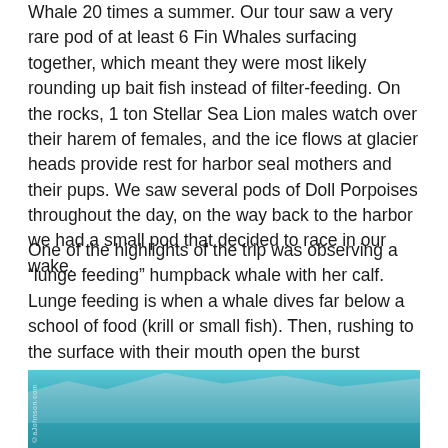Whale 20 times a summer. Our tour saw a very rare pod of at least 6 Fin Whales surfacing together, which meant they were most likely rounding up bait fish instead of filter-feeding. On the rocks, 1 ton Stellar Sea Lion males watch over their harem of females, and the ice flows at glacier heads provide rest for harbor seal mothers and their pups. We saw several pods of Doll Porpoises throughout the day, on the way back to the harbor we had a small pod that decided to race in our wake.
One of the highlights of the trip was observing a “lunge feeding” humpback whale with her calf. Lunge feeding is when a whale dives far below a school of food (krill or small fish). Then, rushing to the surface with their mouth open the burst through to the open air swallowing anything in their mouth!
[Figure (photo): Photograph of ocean water with mountainous or glacier background visible in blue-green tones, likely depicting the Alaska coastal scenery referenced in the text. Watermark visible on left side.]